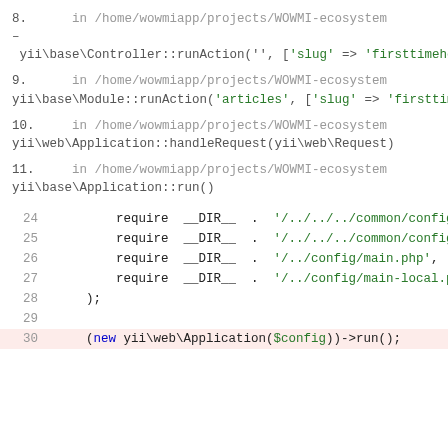8.   in /home/wowmiapp/projects/WOWMI-ecosystem – yii\base\Controller::runAction('', ['slug' => 'firsttimehome...
9.   in /home/wowmiapp/projects/WOWMI-ecosystem yii\base\Module::runAction('articles', ['slug' => 'firsttimeho...
10.  in /home/wowmiapp/projects/WOWMI-ecosystem yii\web\Application::handleRequest(yii\web\Request)
11.  in /home/wowmiapp/projects/WOWMI-ecosystem yii\base\Application::run()
Code block: lines 24-30 showing require statements and Application run
30    (new yii\web\Application($config))->run();